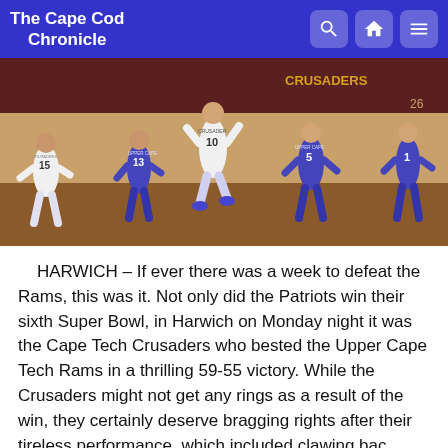The Cape Cod Chronicle
[Figure (photo): Basketball game action shot showing players from Cape Tech Crusaders (white uniforms) and Upper Cape Tech Rams (blue/purple uniforms) on an indoor court. Player #10 in white is going up for a shot while players #13, #5, #15 and #1 in blue and others look on.]
HARWICH – If ever there was a week to defeat the Rams, this was it. Not only did the Patriots win their sixth Super Bowl, in Harwich on Monday night it was the Cape Tech Crusaders who bested the Upper Cape Tech Rams in a thrilling 59-55 victory. While the Crusaders might not get any rings as a result of the win, they certainly deserve bragging rights after their tireless performance, which included clawing bac...
Read more